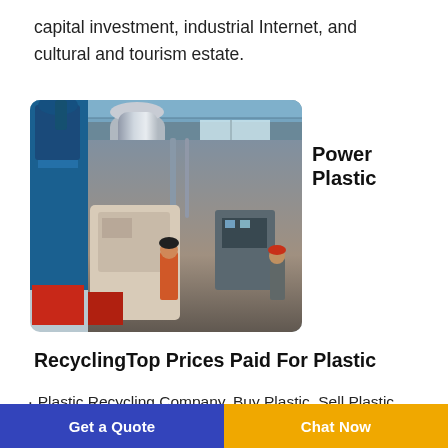capital investment, industrial Internet, and cultural and tourism estate.
[Figure (photo): Industrial plastic recycling machinery inside a factory with blue equipment, silver tanks, beige machines, red boxes, and workers in an industrial setting.]
Power Plastic
RecyclingTop Prices Paid For Plastic
Plastic Recycling Company. Buy Plastic. Sell Plastic Scrap. Recycle Plastics. Here at Power Plastic Recycling, we specialize in scrap plastic recycling solutions. We buy and sell plastic scraps for
Get a Quote | Chat Now